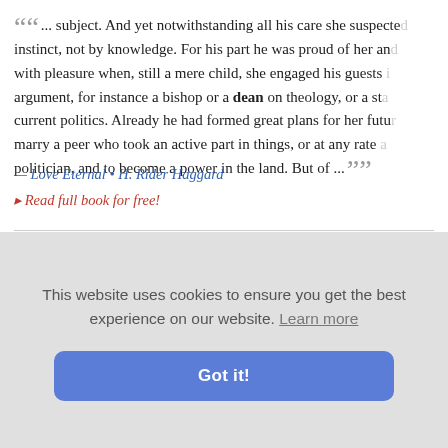" ... subject. And yet notwithstanding all his care she suspected instinct, not by knowledge. For his part he was proud of her and with pleasure when, still a mere child, she engaged his guests in argument, for instance a bishop or a dean on theology, or a statesman on current politics. Already he had formed great plans for her future marry a peer who took an active part in things, or at any rate a politician, and to become a power in the land. But of ... "
— Love Eternal • H. Rider Haggard
▸ Read full book for free!
" ... roof of the cathedral. Also let us be careful how we boast medieval art to people who well know, from the protests of Ruskin ... mischievous ... the Dean's ... ns cathedral ... or French j ...
From the B...
This website uses cookies to ensure you get the best experience on our website. Learn more
Got it!